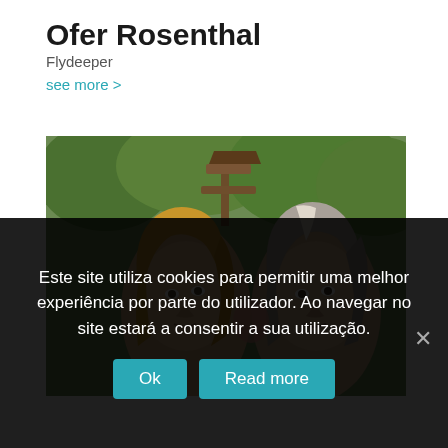Ofer Rosenthal
Flydeeper
see more >
[Figure (photo): Close-up photo of two people (a man with long blonde hair and a woman with long grey-blonde hair) outdoors with green trees and a rustic wooden structure in the background.]
Este site utiliza cookies para permitir uma melhor experiência por parte do utilizador. Ao navegar no site estará a consentir a sua utilização.